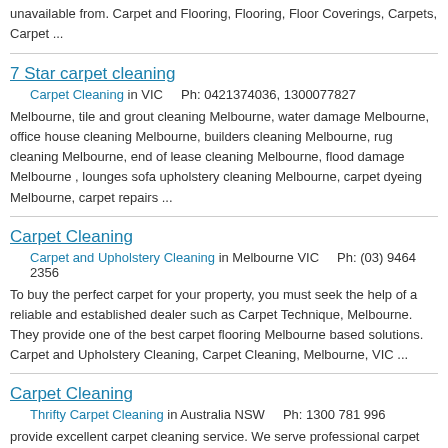unavailable from. Carpet and Flooring, Flooring, Floor Coverings, Carpets, Carpet ...
7 Star carpet cleaning
Carpet Cleaning in VIC    Ph: 0421374036, 1300077827
Melbourne, tile and grout cleaning Melbourne, water damage Melbourne, office house cleaning Melbourne, builders cleaning Melbourne, rug cleaning Melbourne, end of lease cleaning Melbourne, flood damage Melbourne , lounges sofa upholstery cleaning Melbourne, carpet dyeing Melbourne, carpet repairs ...
Carpet Cleaning
Carpet and Upholstery Cleaning in Melbourne VIC    Ph: (03) 9464 2356
To buy the perfect carpet for your property, you must seek the help of a reliable and established dealer such as Carpet Technique, Melbourne. They provide one of the best carpet flooring Melbourne based solutions. Carpet and Upholstery Cleaning, Carpet Cleaning, Melbourne, VIC ...
Carpet Cleaning
Thrifty Carpet Cleaning in Australia NSW    Ph: 1300 781 996
provide excellent carpet cleaning service. We serve professional carpet steam cleaning, carpet dry cleaning, sofa cleaning and hard surface cleaning services to our clients in Brisbane, Gold coast, Melbourne, Perth Sidney. Make a quick call on 1300 781 996 for a free quote. Capet & upholstery ...